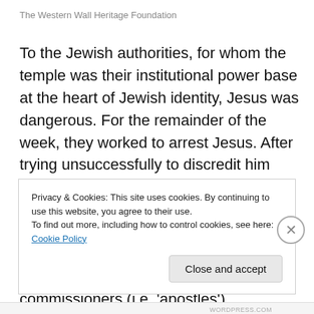The Western Wall Heritage Foundation
To the Jewish authorities, for whom the temple was their institutional power base at the heart of Jewish identity, Jesus was dangerous. For the remainder of the week, they worked to arrest Jesus. After trying unsuccessfully to discredit him publicly, and fearing the incendiary riot that a public arrest would spark, they managed to arrest him on the sly by bribing Judas Iscariot, a member of Jesus' inner circle—one of his twelve commissioners (i.e. 'apostles') responsible for the dissemination of Jesus' claims and for
Privacy & Cookies: This site uses cookies. By continuing to use this website, you agree to their use.
To find out more, including how to control cookies, see here: Cookie Policy
Close and accept